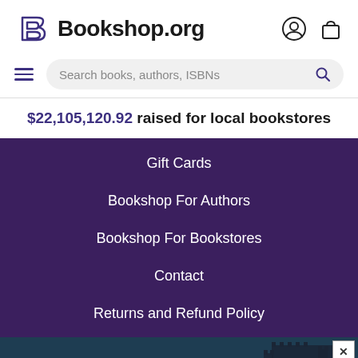[Figure (logo): Bookshop.org logo with purple stylized B and bold text 'Bookshop.org', plus user account and shopping bag icons on the right]
[Figure (screenshot): Search bar with hamburger menu icon on left, search input placeholder 'Search books, authors, ISBNs', and magnifying glass icon on right]
$22,105,120.92 raised for local bookstores
Gift Cards
Bookshop For Authors
Bookshop For Bookstores
Contact
Returns and Refund Policy
[Figure (illustration): Advertisement banner with dark teal ocean/coastal scene and castle on right. Text: '"Alice Feeney is great with TWISTS AND TURNS." —HARLAN COBEN' with a close button (X) in top right corner.]